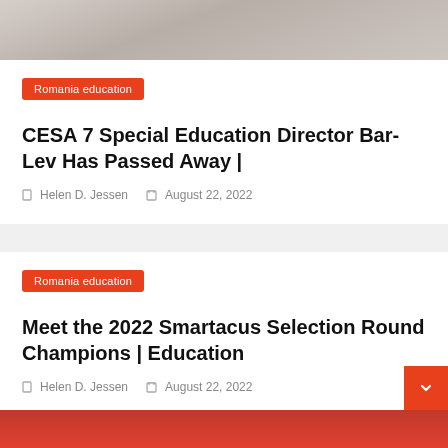[Figure (photo): Partial photo of a person wearing a grey jacket and dark shirt, cropped at neck/chin level]
Romania education
CESA 7 Special Education Director Bar-Lev Has Passed Away |
Helen D. Jessen   August 22, 2022
Romania education
Meet the 2022 Smartacus Selection Round Champions | Education
Helen D. Jessen   August 22, 2022
[Figure (photo): Partial photo at bottom, appears to show people, cropped]